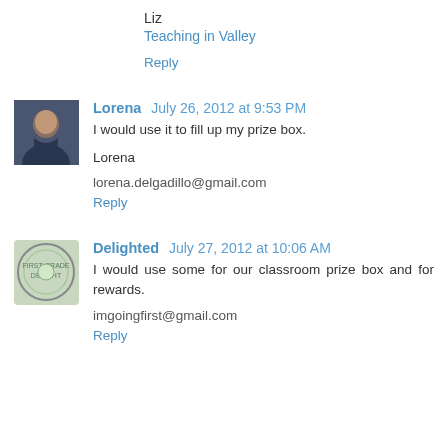Liz
Teaching in Valley
Reply
Lorena  July 26, 2012 at 9:53 PM
I would use it to fill up my prize box.
Lorena
lorena.delgadillo@gmail.com
Reply
Delighted  July 27, 2012 at 10:06 AM
I would use some for our classroom prize box and for rewards.
imgoingfirst@gmail.com
Reply